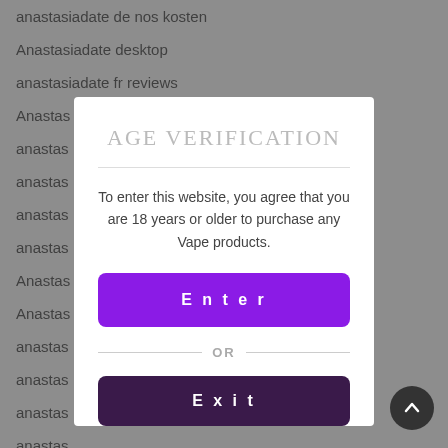anastasiadate de nos kosten
Anastasiadate desktop
anastasiadate fr reviews
Anastas
anastas
anastas
anastas
anastas
Anastas
Anastas
anastas
anastas
anastas
anastas
[Figure (screenshot): Age verification modal dialog with 'AGE VERIFICATION' title, text stating 'To enter this website, you agree that you are 18 years or older to purchase any Vape products.', a purple Enter button, an OR divider, and a dark Exit button.]